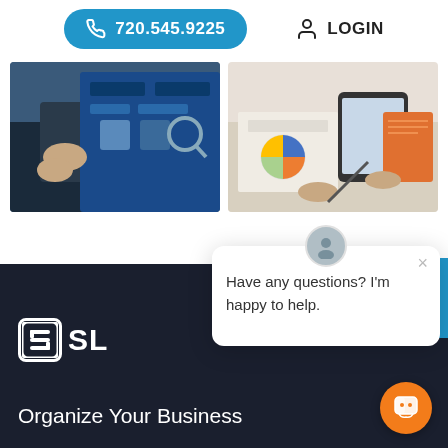[Figure (screenshot): Website screenshot showing phone number button '720.545.9225' in blue and LOGIN link at top, two partial images below, a dark footer with partial logo and 'Organize Your Business' text, a chat popup saying 'Have any questions? I'm happy to help.', a QUOTE tab on right edge, and an orange chat icon bottom right.]
720.545.9225
LOGIN
Have any questions? I'm happy to help.
Organize Your Business